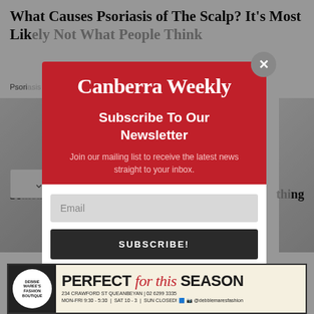What Causes Psoriasis of The Scalp? It's Most Like Not What People Think
Psori...
[Figure (screenshot): Modal popup overlay on a webpage for Canberra Weekly newsletter subscription]
Canberra Weekly
Subscribe To Our Newsletter
Join our mailing list to receive the latest news straight to your inbox.
[Figure (advertisement): Debbie Maree's Fashion Boutique ad - Perfect for this Season. 234 Crawford St Queanbeyan | 02 6299 3335 | MON-FRI 9:30 - 5:30 | SAT 10-3 | SUN CLOSED! Facebook Instagram @debblemaresfashion]